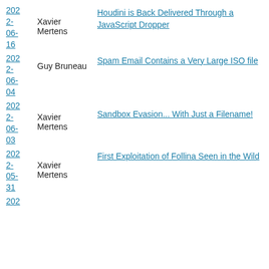2022-06-16 | Xavier Mertens | Houdini is Back Delivered Through a JavaScript Dropper
2022-06-04 | Guy Bruneau | Spam Email Contains a Very Large ISO file
2022-06-03 | Xavier Mertens | Sandbox Evasion... With Just a Filename!
2022-05-31 | Xavier Mertens | First Exploitation of Follina Seen in the Wild
202...